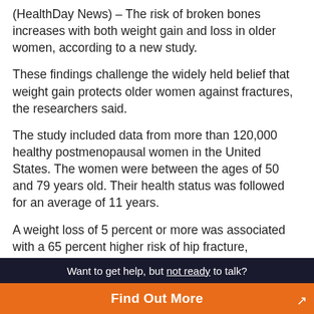(HealthDay News) – The risk of broken bones increases with both weight gain and loss in older women, according to a new study.
These findings challenge the widely held belief that weight gain protects older women against fractures, the researchers said.
The study included data from more than 120,000 healthy postmenopausal women in the United States. The women were between the ages of 50 and 79 years old. Their health status was followed for an average of 11 years.
A weight loss of 5 percent or more was associated with a 65 percent higher risk of hip fracture, according to the researchers. They also found a 9 percent higher risk of upper limb fracture, and a 30 percent higher risk of central body fracture (hip, pelvis and spine) with weight loss.
Want to get help, but not ready to talk?
Find Out More